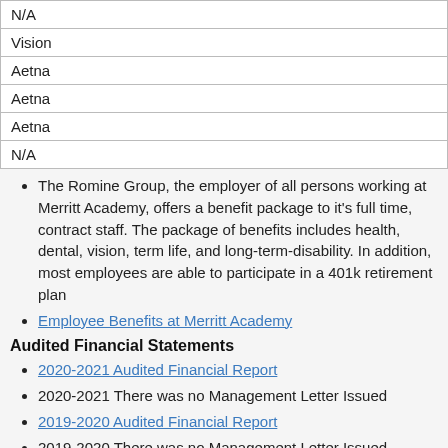| N/A |
| Vision |
| Aetna |
| Aetna |
| Aetna |
| N/A |
The Romine Group, the employer of all persons working at Merritt Academy, offers a benefit package to it's full time, contract staff. The package of benefits includes health, dental, vision, term life, and long-term-disability. In addition, most employees are able to participate in a 401k retirement plan
Employee Benefits at Merritt Academy
Audited Financial Statements
2020-2021 Audited Financial Report
2020-2021 There was no Management Letter Issued
2019-2020 Audited Financial Report
2019-2020 There was no Management Letter Issued
2018-2019 Audited Financial Report
2018-2019 There was no Management Letter Issued